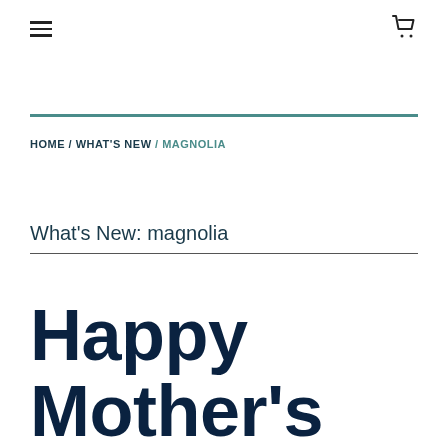≡  🛒
HOME / WHAT'S NEW / MAGNOLIA
What's New: magnolia
Happy Mother's Day